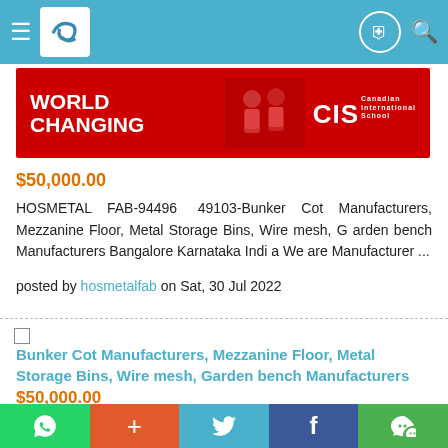Navigation bar with hamburger menu, logo, and icons
[Figure (photo): World Changing advertisement banner for CIS (Canadian International School) showing students in red uniforms]
$50,000.00
HOSMETAL FAB-94496 49103-Bunker Cot Manufacturers, Mezzanine Floor, Metal Storage Bins, Wire mesh, G arden bench Manufacturers Bangalore Karnataka Indi a We are Manufacturer ...
posted by hosmetalfab on Sat, 30 Jul 2022
Bunker Cot Manufacturers, Mezzanine Floor, Metal Storage Bins, Wire mesh, Garden bench Manufacturers
$50,000.00
HOSMETAL FAB • Home • About us • Recent Work • Presentation • Blog Entires • Contact Us • • • • • HOSMETAL FAB-9449649103 Bunke r Cot Manufacturers , ...
Social share bar: WhatsApp, Plus, Twitter, Facebook, WeChat